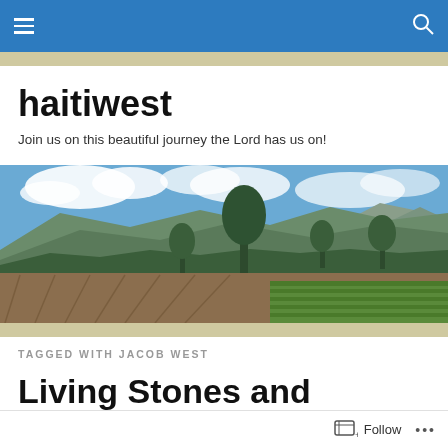haitiwest navigation bar
haitiwest
Join us on this beautiful journey the Lord has us on!
[Figure (photo): Landscape photo of Haitian countryside with mountains in the background, trees, agricultural fields with plowed rows, green crops, and a partly cloudy blue sky.]
TAGGED WITH JACOB WEST
Living Stones and Kingdom Work
Follow